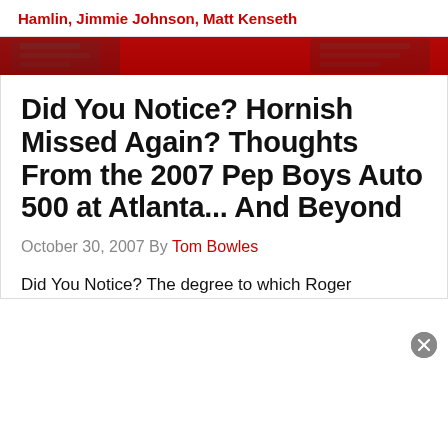Hamlin, Jimmie Johnson, Matt Kenseth
[Figure (photo): Red banner with decorative NASCAR-themed imagery, dark red gradient background with faint graphic overlay]
Did You Notice? Hornish Missed Again? Thoughts From the 2007 Pep Boys Auto 500 at Atlanta... And Beyond
October 30, 2007 By Tom Bowles
Did You Notice? The degree to which Roger